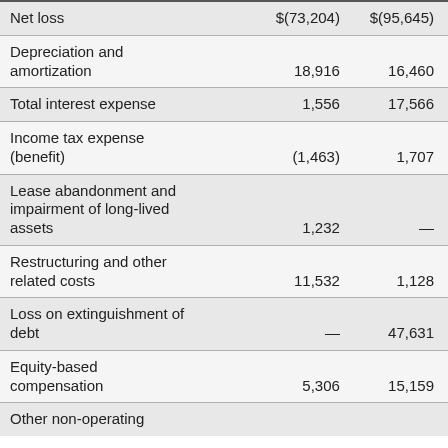| Net loss | $(73,204) | $(95,645) |
| Depreciation and amortization | 18,916 | 16,460 |
| Total interest expense | 1,556 | 17,566 |
| Income tax expense (benefit) | (1,463) | 1,707 |
| Lease abandonment and impairment of long-lived assets | 1,232 | — |
| Restructuring and other related costs | 11,532 | 1,128 |
| Loss on extinguishment of debt | — | 47,631 |
| Equity-based compensation | 5,306 | 15,159 |
| Other non-operating |  |  |